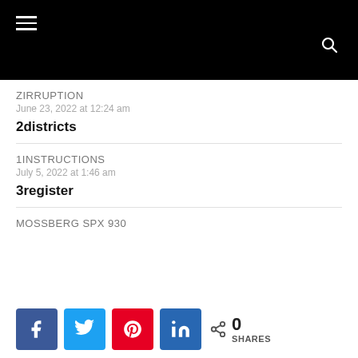ZIRRUPTION
June 23, 2022 at 12:24 am
2districts
1INSTRUCTIONS
July 5, 2022 at 1:46 am
3register
MOSSBERG SPX 930
0 SHARES